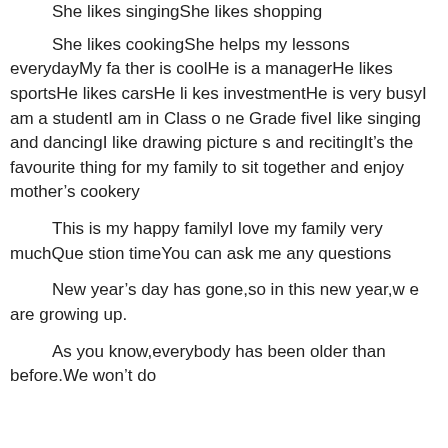She likes singShe likes shopping She likes cookingShe helps my lessons everydayMy father is coolHe is a managerHe likes sportsHe likes carsHe likes investmentHe is very busyI am a studentI am in Class one Grade fiveI like singing and dancingI like drawing pictures and recitingIt&rsquo;s the favourite thing for my family to sit together and enjoy mother&rsquo;s cookery
This is my happy familyI love my family very muchQuestion timeYou can ask me any questions
New year&rsquo;s day has gone,so in this new year,we are growing up.
As you know,everybody has been older than before.We won&rsquo;t do...